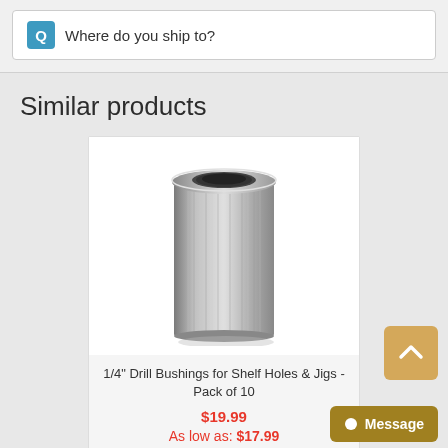Q  Where do you ship to?
Similar products
[Figure (photo): A cylindrical metal drill bushing with knurled/ribbed exterior and hollow center, viewed from a slight angle showing the open top.]
1/4" Drill Bushings for Shelf Holes & Jigs - Pack of 10
$19.99
As low as: $17.99